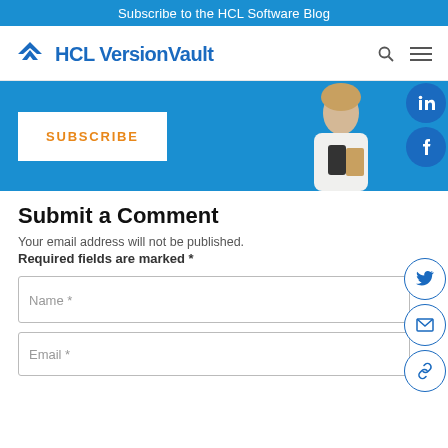Subscribe to the HCL Software Blog
[Figure (logo): HCL VersionVault logo with blue chevron/V icon and blue text]
[Figure (infographic): Blue banner with SUBSCRIBE button and woman holding phone and book, with social media icons (LinkedIn, Facebook, Twitter, Email, Link) on the right side]
Submit a Comment
Your email address will not be published.
Required fields are marked *
Name *
Email *